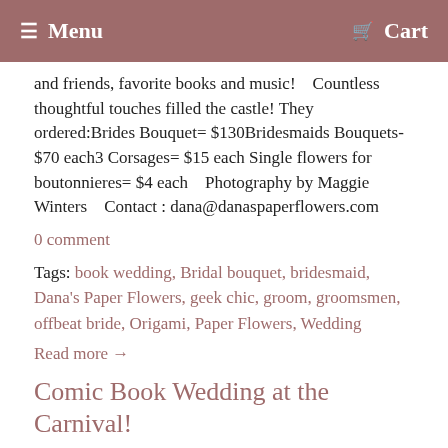Menu   Cart
and friends, favorite books and music!    Countless thoughtful touches filled the castle! They ordered:Brides Bouquet= $130Bridesmaids Bouquets- $70 each3 Corsages= $15 each Single flowers for boutonnieres= $4 each    Photography by Maggie Winters    Contact : dana@danaspaperflowers.com
0 comment
Tags: book wedding, Bridal bouquet, bridesmaid, Dana's Paper Flowers, geek chic, groom, groomsmen, offbeat bride, Origami, Paper Flowers, Wedding
Read more →
Comic Book Wedding at the Carnival!
Posted by Dana Parlevliet on October 14, 2015